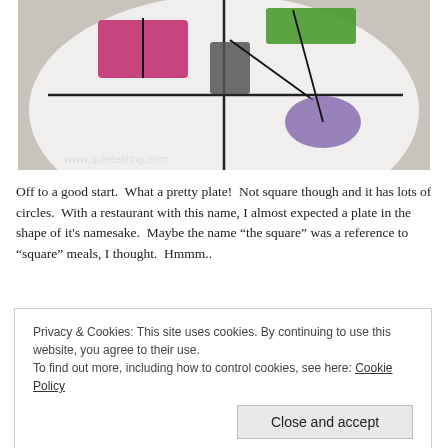[Figure (photo): A white round plate divided into quadrants by black lines, with colored shapes: a pink/magenta rectangle (top-left), a green rectangle (top-right), a dark gray rectangle (center), and a purple oval (bottom-right). Watermark 'www.quieteating.com' in lower-left corner.]
Off to a good start.  What a pretty plate!  Not square though and it has lots of circles.  With a restaurant with this name, I almost expected a plate in the shape of it's namesake.  Maybe the name “the square” was a reference to “square” meals, I thought.  Hmmm..
Privacy & Cookies: This site uses cookies. By continuing to use this website, you agree to their use.
To find out more, including how to control cookies, see here: Cookie Policy
Close and accept